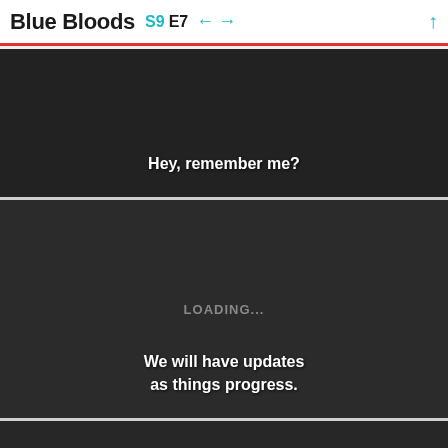Blue Bloods S9 E7 ← → ↑
[Figure (screenshot): Dark video frame with white subtitle text reading: Hey, remember me?]
[Figure (screenshot): Dark video frame with LOADING... text in center and white subtitle text reading: We will have updates as things progress.]
[Figure (screenshot): Dark video frame, partially visible at bottom of page]